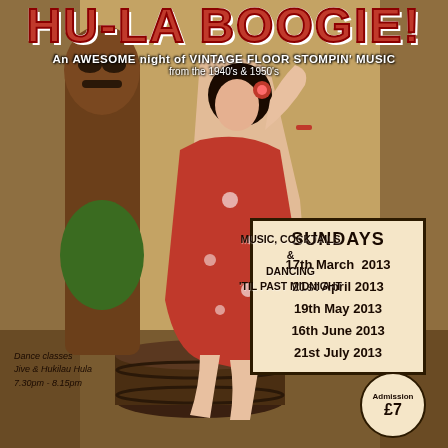[Figure (photo): Vintage pin-up style woman in red Hawaiian floral dress seated on a wooden barrel, posed next to a tiki statue, tropical/tiki bar background with bamboo and burlap]
HU-LA BOOGIE!
An AWESOME night of VINTAGE FLOOR STOMPIN' MUSIC from the 1940's & 1950's
SUNDAYS
17th March 2013
21st April 2013
19th May 2013
16th June 2013
21st July 2013
MUSIC, COCKTAILS & DANCING 'TIL PAST MIDNIGHT
Dance classes
Jive & Hukilau Hula
7.30pm - 8.15pm
Admission £7